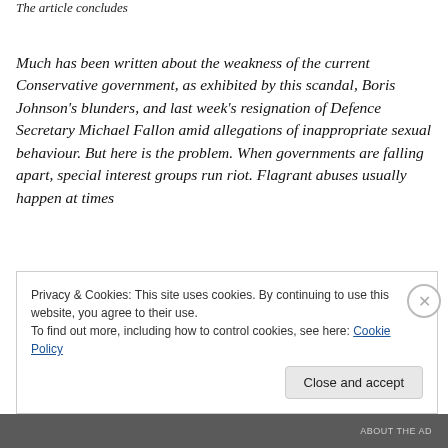The article concludes
Much has been written about the weakness of the current Conservative government, as exhibited by this scandal, Boris Johnson’s blunders, and last week’s resignation of Defence Secretary Michael Fallon amid allegations of inappropriate sexual behaviour. But here is the problem. When governments are falling apart, special interest groups run riot. Flagrant abuses usually happen at times
Privacy & Cookies: This site uses cookies. By continuing to use this website, you agree to their use.
To find out more, including how to control cookies, see here: Cookie Policy
Close and accept